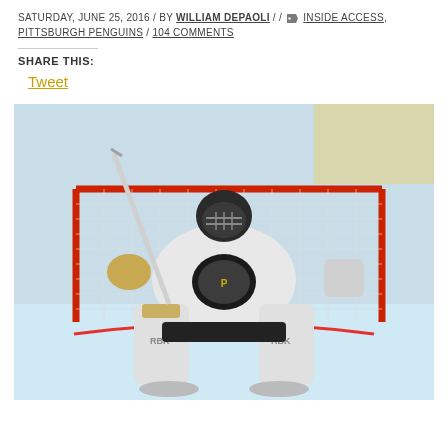SATURDAY, JUNE 25, 2016 / BY William DePaoli / / INSIDE ACCESS, PITTSBURGH PENGUINS / 104 COMMENTS
SHARE THIS:
Tweet
[Figure (photo): Pittsburgh Penguins goalie in full equipment in Ready stance in front of hockey net, wearing white and black Reebok pads and a Penguins-logo helmet, with red goal posts and netting visible behind.]